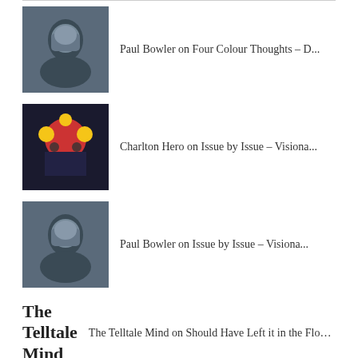Paul Bowler on Four Colour Thoughts – D...
Charlton Hero on Issue by Issue – Visiona...
Paul Bowler on Issue by Issue – Visiona...
The Telltale Mind on Should Have Left it in the Flo...
emmakwall on Should Have Left it in the Flo...
TOP CATEGORIES: MUSIC MARVEL COMICS